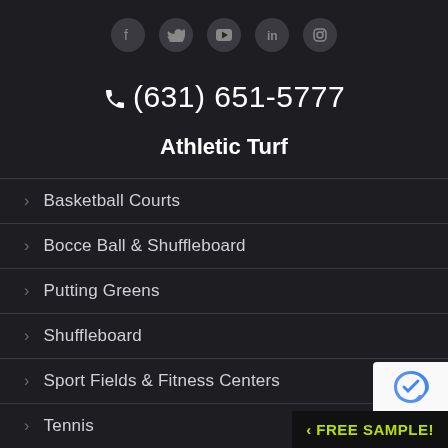[Figure (other): Social media icons row: Facebook, Twitter, YouTube, LinkedIn, Instagram]
☎ (631) 651-5777
Athletic Turf
Basketball Courts
Bocce Ball & Shuffleboard
Putting Greens
Shuffleboard
Sport Fields & Fitness Centers
Tennis
‹ FREE SAMPLE!